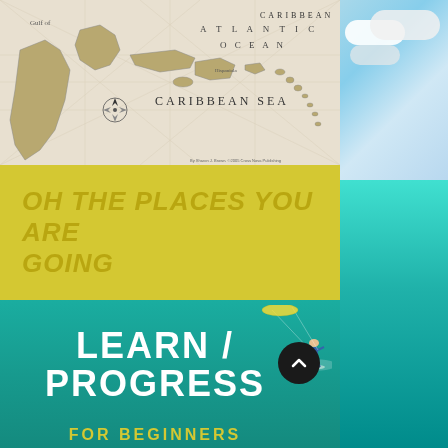[Figure (map): Vintage black and white map of the Caribbean Sea region showing Gulf of Mexico, Atlantic Ocean, Caribbean Sea, with islands including Hispaniola, and decorative compass rose]
OH THE PLACES YOU ARE GOING
[Figure (photo): Person kitesurfing on turquoise tropical ocean water with a dark circle up-arrow navigation button overlay]
LEARN / PROGRESS
FOR BEGINNERS
[Figure (photo): Right column: blue sky with white clouds transitioning to turquoise ocean water]